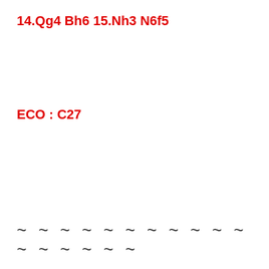14.Qg4 Bh6 15.Nh3 N6f5
ECO : C27
~ ~ ~ ~ ~ ~ ~ ~ ~ ~ ~ ~ ~ ~ ~ ~ ~